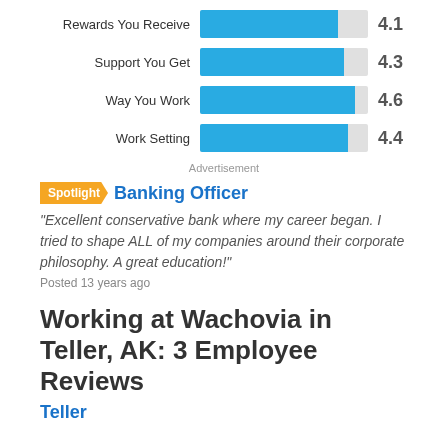[Figure (bar-chart): Ratings]
Advertisement
Spotlight  Banking Officer
"Excellent conservative bank where my career began. I tried to shape ALL of my companies around their corporate philosophy. A great education!"
Posted 13 years ago
Working at Wachovia in Teller, AK: 3 Employee Reviews
Teller